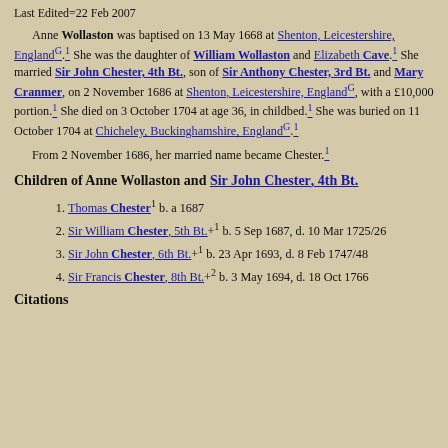Last Edited=22 Feb 2007
Anne Wollaston was baptised on 13 May 1668 at Shenton, Leicestershire, EnglandG.1 She was the daughter of William Wollaston and Elizabeth Cave.1 She married Sir John Chester, 4th Bt., son of Sir Anthony Chester, 3rd Bt. and Mary Cranmer, on 2 November 1686 at Shenton, Leicestershire, EnglandG, with a £10,000 portion.1 She died on 3 October 1704 at age 36, in childbed.1 She was buried on 11 October 1704 at Chicheley, Buckinghamshire, EnglandG.1
From 2 November 1686, her married name became Chester.1
Children of Anne Wollaston and Sir John Chester, 4th Bt.
Thomas Chester1 b. a 1687
Sir William Chester, 5th Bt.+1 b. 5 Sep 1687, d. 10 Mar 1725/26
Sir John Chester, 6th Bt.+1 b. 23 Apr 1693, d. 8 Feb 1747/48
Sir Francis Chester, 8th Bt.+2 b. 3 May 1694, d. 18 Oct 1766
Citations